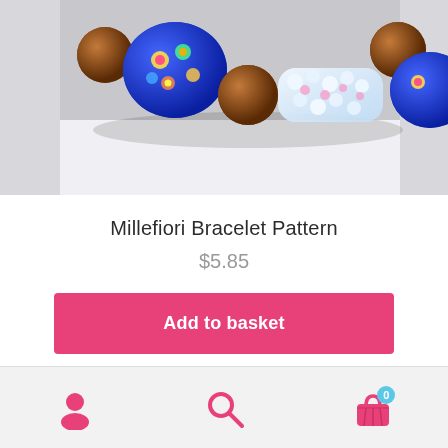[Figure (photo): Close-up photo of a beaded bracelet featuring blue millefiori glass beads with flower patterns, brown pearl beads, and a section of small crystal/clear beads, on a white background.]
Millefiori Bracelet Pattern
$5.85
Add to basket
Add to Wishlist
User icon | Search icon | Basket icon (0)